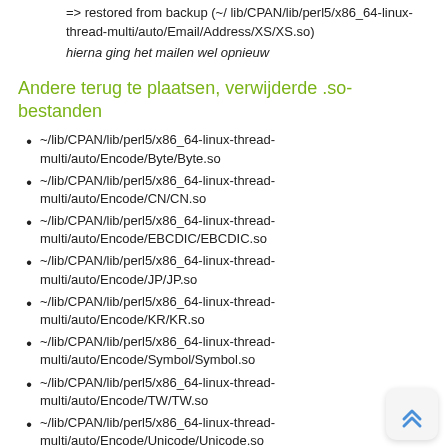=> restored from backup (~/ lib/CPAN/lib/perl5/x86_64-linux-thread-multi/auto/Email/Address/XS/XS.so)
hierna ging het mailen wel opnieuw
Andere terug te plaatsen, verwijderde .so-bestanden
~/lib/CPAN/lib/perl5/x86_64-linux-thread-multi/auto/Encode/Byte/Byte.so
~/lib/CPAN/lib/perl5/x86_64-linux-thread-multi/auto/Encode/CN/CN.so
~/lib/CPAN/lib/perl5/x86_64-linux-thread-multi/auto/Encode/EBCDIC/EBCDIC.so
~/lib/CPAN/lib/perl5/x86_64-linux-thread-multi/auto/Encode/JP/JP.so
~/lib/CPAN/lib/perl5/x86_64-linux-thread-multi/auto/Encode/KR/KR.so
~/lib/CPAN/lib/perl5/x86_64-linux-thread-multi/auto/Encode/Symbol/Symbol.so
~/lib/CPAN/lib/perl5/x86_64-linux-thread-multi/auto/Encode/TW/TW.so
~/lib/CPAN/lib/perl5/x86_64-linux-thread-multi/auto/Encode/Unicode/Unicode.so